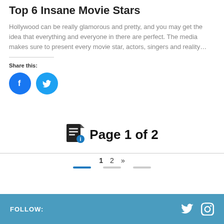Top 6 Insane Movie Stars
Hollywood can be really glamorous and pretty, and you may get the idea that everything and everyone in there are perfect. The media makes sure to present every movie star, actors, singers and reality…
Share this:
[Figure (infographic): Social share buttons: Facebook (blue circle with F icon) and Twitter (blue circle with bird icon)]
Page 1 of 2
1  2  »
FOLLOW: